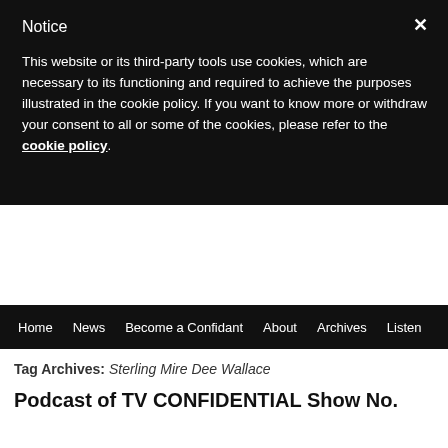Notice
This website or its third-party tools use cookies, which are necessary to its functioning and required to achieve the purposes illustrated in the cookie policy. If you want to know more or withdraw your consent to all or some of the cookies, please refer to the cookie policy.
[Figure (logo): TV Confidential logo with blue cursive text reading 'Conf' (cropped) and tagline 'A radio talk s' (cropped), with diagonal gray/silver and purple accents]
Home  News  Become a Confidant  About  Archives  Listen
Tag Archives: Sterling Mire Dee Wallace
Podcast of TV CONFIDENTIAL Show No.